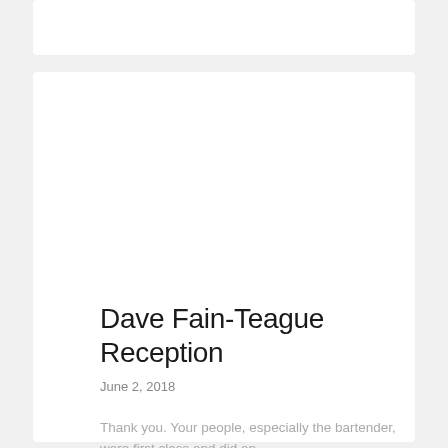Dave Fain-Teague Reception
June 2, 2018
Thank you. Your people, especially the bartender, were first class and did an